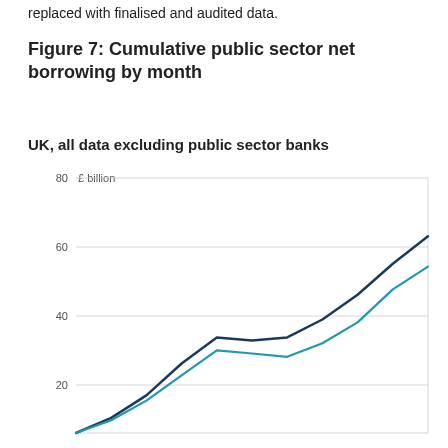replaced with finalised and audited data.
Figure 7: Cumulative public sector net borrowing by month
UK, all data excluding public sector banks
[Figure (line-chart): Two line series showing cumulative public sector net borrowing by month. Both lines start near 0, rise to approximately 28-30 by mid-year, then one line (dark blue) rises steeply to about 65 while the other (light blue/teal) rises to about 53 by the end of the visible period.]